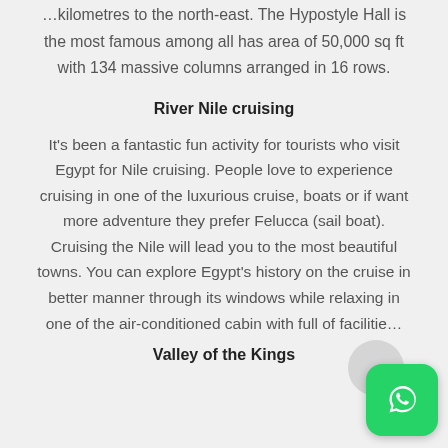…kilometres to the north-east. The Hypostyle Hall is the most famous among all has area of 50,000 sq ft with 134 massive columns arranged in 16 rows.
River Nile cruising
It's been a fantastic fun activity for tourists who visit Egypt for Nile cruising. People love to experience cruising in one of the luxurious cruise, boats or if want more adventure they prefer Felucca (sail boat). Cruising the Nile will lead you to the most beautiful towns. You can explore Egypt's history on the cruise in better manner through its windows while relaxing in one of the air-conditioned cabin with full of facilities
Valley of the Kings